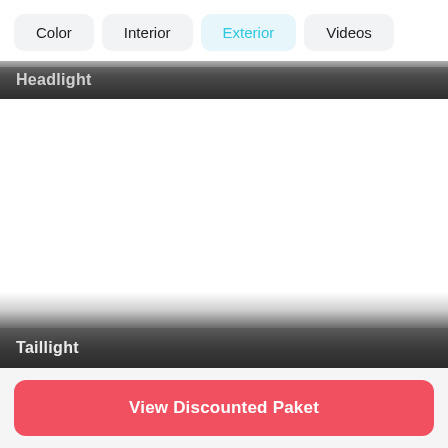Color | Interior | Exterior | Videos
Headlight
[Figure (photo): Blank white area representing exterior headlight photo content area]
Taillight
View Discounted Paket